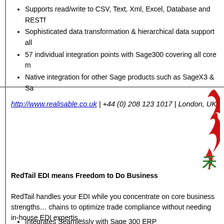Supports read/write to CSV, Text, Xml, Excel, Database and RESTf…
Sophisticated data transformation & hierarchical data support all…
57 individual integration points with Sage300 covering all core m…
Native integration for other Sage products such as SageX3 & Sa…
http://www.realisable.co.uk  | +44 (0) 208 123 1017 | London, UK
[Figure (logo): RedTail EDI flame/bird logo in red, partially visible on right side of page]
RedTail EDI means Freedom to Do Business
RedTail handles your EDI while you concentrate on core business strengths… chains to optimize trade compliance without needing in-house EDI expertis…
• Integrates Seamlessly with Sage 300 ERP